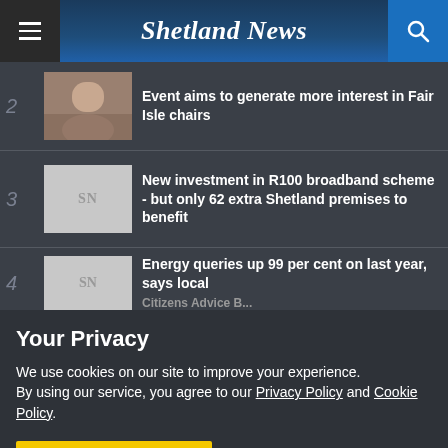Shetland News
2 — Event aims to generate more interest in Fair Isle chairs
3 — New investment in R100 broadband scheme - but only 62 extra Shetland premises to benefit
4 — Energy queries up 99 per cent on last year, says local Citizens Advice Bureau
Your Privacy
We use cookies on our site to improve your experience.
By using our service, you agree to our Privacy Policy and Cookie Policy.
I'm OK with that